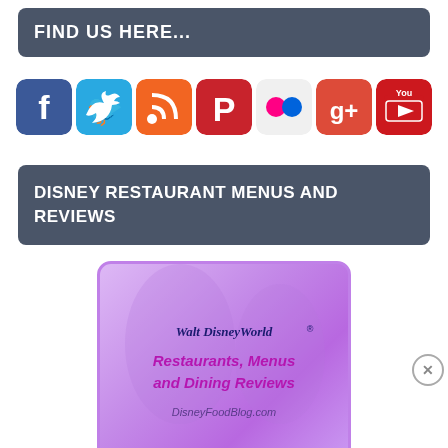FIND US HERE...
[Figure (infographic): Row of social media icons: Facebook (blue), Twitter (light blue), RSS (orange), Pinterest (red), Flickr (pink/red dots on white), Google+ (red), YouTube (red/white)]
DISNEY RESTAURANT MENUS AND REVIEWS
[Figure (illustration): Walt Disney World Restaurants, Menus and Dining Reviews ad banner with purple gradient background, Disney logo in dark blue script, subtitle in magenta italic, URL DisneyFoodBlog.com at bottom]
[Figure (other): Partially visible bottom element, grey/lavender rounded box]